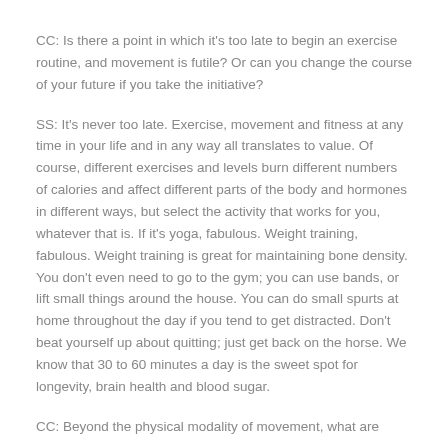CC: Is there a point in which it's too late to begin an exercise routine, and movement is futile? Or can you change the course of your future if you take the initiative?
SS: It's never too late. Exercise, movement and fitness at any time in your life and in any way all translates to value. Of course, different exercises and levels burn different numbers of calories and affect different parts of the body and hormones in different ways, but select the activity that works for you, whatever that is. If it's yoga, fabulous. Weight training, fabulous. Weight training is great for maintaining bone density. You don't even need to go to the gym; you can use bands, or lift small things around the house. You can do small spurts at home throughout the day if you tend to get distracted. Don't beat yourself up about quitting; just get back on the horse. We know that 30 to 60 minutes a day is the sweet spot for longevity, brain health and blood sugar.
CC: Beyond the physical modality of movement, what are